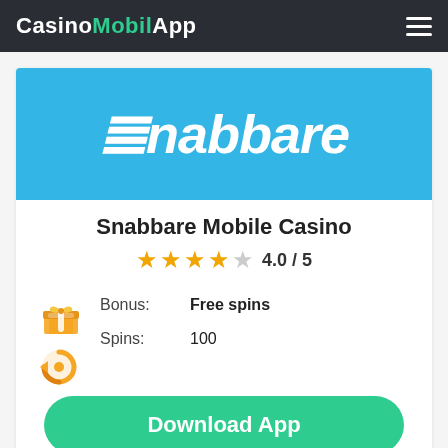CasinoMobilApp
[Figure (logo): Snabbare casino logo on blue background with white italic text 'Snabbare']
Snabbare Mobile Casino
4.0 / 5 (4 filled stars out of 5)
Bonus: Free spins
Spins: 100
Download App
18+ | Terms and Conditions Apply